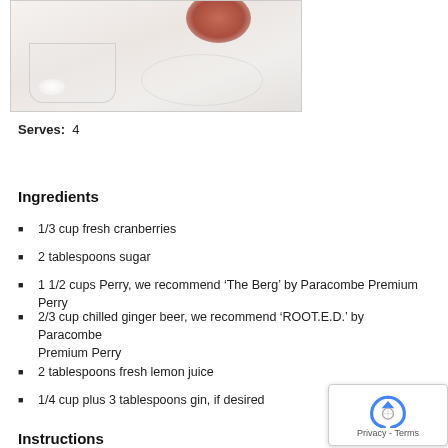[Figure (photo): Partial top-of-page photo showing a glass with reflection and a red/cranberry colored element, white background]
Serves:  4
Ingredients
1/3 cup fresh cranberries
2 tablespoons sugar
1 1/2 cups Perry, we recommend ‘The Berg’ by Paracombe Premium Perry
2/3 cup chilled ginger beer, we recommend ‘ROOT.E.D.’ by Paracombe Premium Perry
2 tablespoons fresh lemon juice
1/4 cup plus 3 tablespoons gin, if desired
Instructions